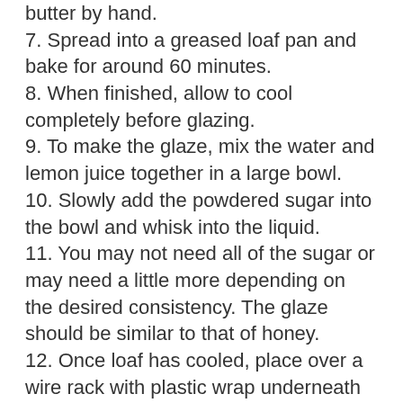butter by hand.
7. Spread into a greased loaf pan and bake for around 60 minutes.
8. When finished, allow to cool completely before glazing.
9. To make the glaze, mix the water and lemon juice together in a large bowl.
10. Slowly add the powdered sugar into the bowl and whisk into the liquid.
11. You may not need all of the sugar or may need a little more depending on the desired consistency. The glaze should be similar to that of honey.
12. Once loaf has cooled, place over a wire rack with plastic wrap underneath and pour glaze over loaf. Use a spatula to help spread onto all sides.
13. Allow to sit and dry on rack before